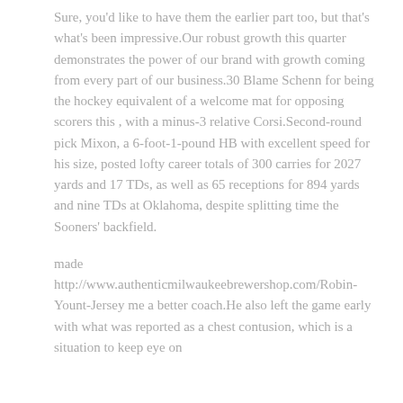Sure, you'd like to have them the earlier part too, but that's what's been impressive.Our robust growth this quarter demonstrates the power of our brand with growth coming from every part of our business.30 Blame Schenn for being the hockey equivalent of a welcome mat for opposing scorers this , with a minus-3 relative Corsi.Second-round pick Mixon, a 6-foot-1-pound HB with excellent speed for his size, posted lofty career totals of 300 carries for 2027 yards and 17 TDs, as well as 65 receptions for 894 yards and nine TDs at Oklahoma, despite splitting time the Sooners' backfield.
made http://www.authenticmilwaukeebrewershop.com/Robin-Yount-Jersey me a better coach.He also left the game early with what was reported as a chest contusion, which is a situation to keep eye on